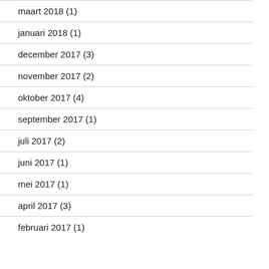maart 2018 (1)
januari 2018 (1)
december 2017 (3)
november 2017 (2)
oktober 2017 (4)
september 2017 (1)
juli 2017 (2)
juni 2017 (1)
mei 2017 (1)
april 2017 (3)
februari 2017 (1)